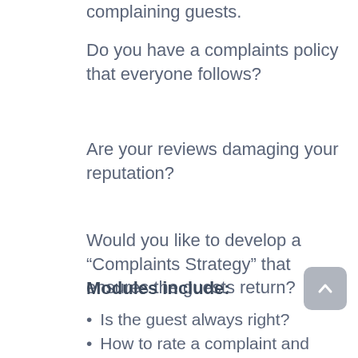complaining guests.
Do you have a complaints policy that everyone follows?
Are your reviews damaging your reputation?
Would you like to develop a “Complaints Strategy” that ensures the guests return?
Modules include:
Is the guest always right?
How to rate a complaint and what to do about it